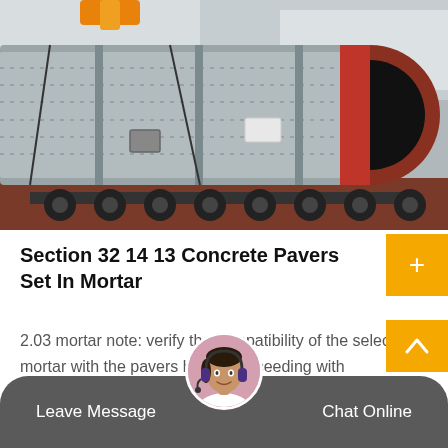[Figure (photo): Large industrial cylindrical vessel or ball mill on a flatbed multi-axle trailer, grey metallic body with red-rimmed opening on the right side, photographed outdoors]
Section 32 14 13 Concrete Pavers Set In Mortar
2.03 mortar note: verify the compatibility of the selected mortar with the pavers before proceeding with mortaring. consult with the…